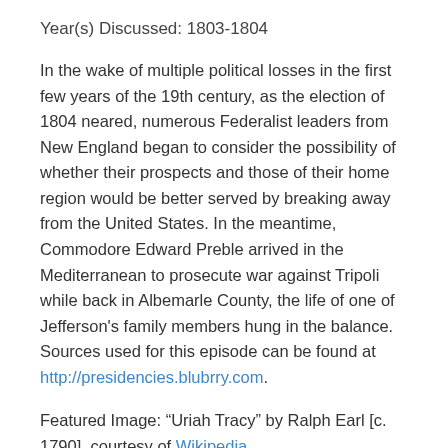Year(s) Discussed: 1803-1804
In the wake of multiple political losses in the first few years of the 19th century, as the election of 1804 neared, numerous Federalist leaders from New England began to consider the possibility of whether their prospects and those of their home region would be better served by breaking away from the United States. In the meantime, Commodore Edward Preble arrived in the Mediterranean to prosecute war against Tripoli while back in Albemarle County, the life of one of Jefferson's family members hung in the balance. Sources used for this episode can be found at http://presidencies.blubrry.com.
Featured Image: “Uriah Tracy” by Ralph Earl [c. 1790], courtesy of Wikipedia
Intro and Outro Music: Selections from “ Jefferson